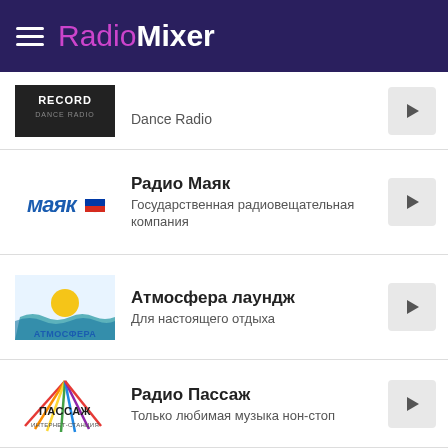RadioMixer
Dance Radio
Радио Маяк — Государственная радиовещательная компания
Атмосфера лаундж — Для настоящего отдыха
Радио Пассаж — Только любимая музыка нон-стоп
РЕТРО